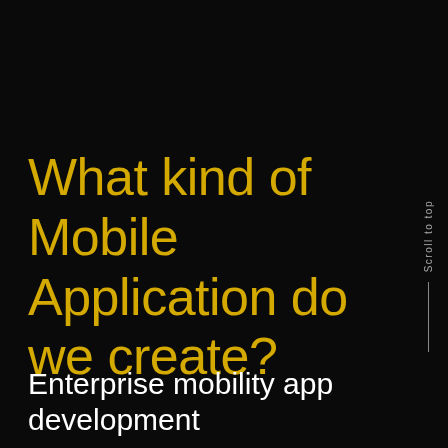What kind of Mobile Application do we create?
Scroll to top
Enterprise mobility app development